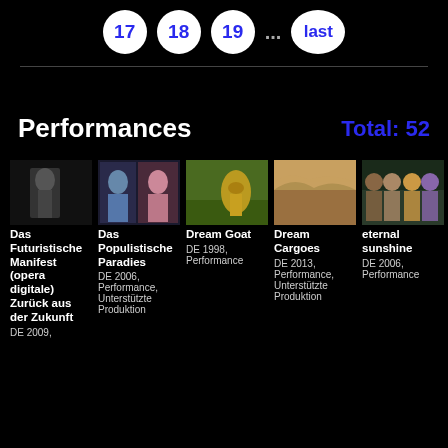17  18  19  ...  last
Performances   Total: 52
[Figure (photo): Thumbnail of Das Futuristische Manifest (opera digitale) Zurück aus der Zukunft]
Das Futuristische Manifest (opera digitale) Zurück aus der Zukunft
DE 2009,
[Figure (photo): Thumbnail of Das Populistische Paradies]
Das Populistische Paradies
DE 2006, Performance, Unterstützte Produktion
[Figure (photo): Thumbnail of Dream Goat]
Dream Goat
DE 1998, Performance
[Figure (photo): Thumbnail of Dream Cargoes]
Dream Cargoes
DE 2013, Performance, Unterstützte Produktion
[Figure (photo): Thumbnail of eternal sunshine]
eternal sunshine
DE 2006, Performance